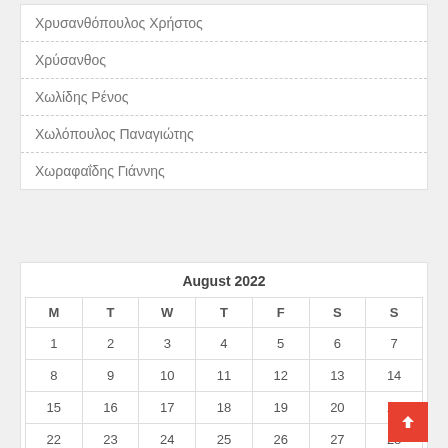Χρυσανθόπουλος Χρήστος
Χρύσανθος
Χωλίδης Ρένος
Χωλόπουλος Παναγιώτης
Χωραφαΐδης Γιάννης
August 2022
| M | T | W | T | F | S | S |
| --- | --- | --- | --- | --- | --- | --- |
| 1 | 2 | 3 | 4 | 5 | 6 | 7 |
| 8 | 9 | 10 | 11 | 12 | 13 | 14 |
| 15 | 16 | 17 | 18 | 19 | 20 | 21 |
| 22 | 23 | 24 | 25 | 26 | 27 | 28 |